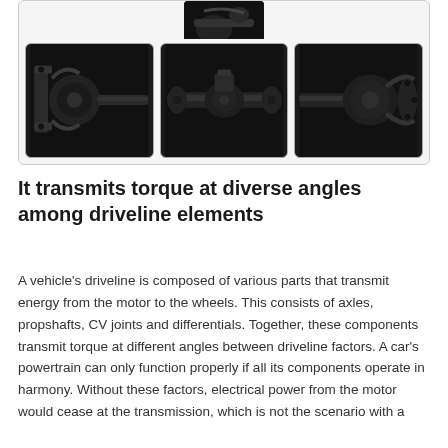[Figure (photo): Three thumbnail photos of driveshaft/CV joint components shown in a bordered image box. Top portion shows a dark silhouette of a driveshaft component. Left thumbnail shows a CV joint end with bracket. Middle thumbnail shows the full driveshaft shaft with joint in center. Right thumbnail shows the other CV joint end.]
It transmits torque at diverse angles among driveline elements
A vehicle's driveline is composed of various parts that transmit energy from the motor to the wheels. This consists of axles, propshafts, CV joints and differentials. Together, these components transmit torque at different angles between driveline factors. A car's powertrain can only function properly if all its components operate in harmony. Without these factors, electrical power from the motor would cease at the transmission, which is not the scenario with a